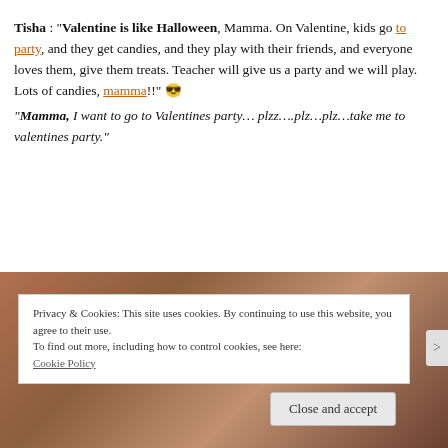Tisha : "Valentine is like Halloween, Mamma. On Valentine, kids go to party, and they get candies, and they play with their friends, and everyone loves them, give them treats. Teacher will give us a party and we will play. Lots of candies, mamma!!" 😎 "Mamma, I want to go to Valentines party… plzz….plz…plz…take me to valentines party."
[Figure (photo): A blurred brownish/reddish photo strip, likely a decorative or article image with warm tones.]
Privacy & Cookies: This site uses cookies. By continuing to use this website, you agree to their use. To find out more, including how to control cookies, see here: Cookie Policy
Close and accept